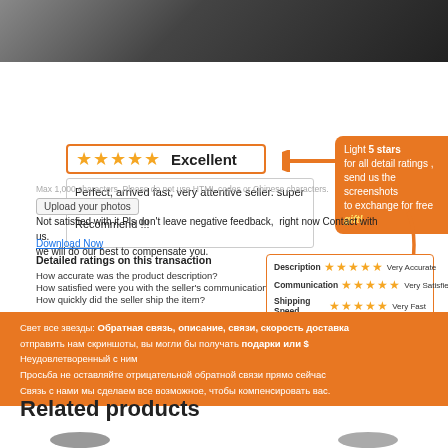[Figure (photo): Product photo - dark background with sneaker/shoe]
[Figure (infographic): Review feedback infographic with 5-star rating box labeled Excellent, orange arrow pointing left, orange speech bubble saying Light 5 stars for all detail ratings, send us the screenshots to exchange for free gift!, review text box, upload button, ratings detail box with Description/Communication/Shipping Speed star ratings, orange banner in Russian, and Related products heading]
Perfect, arrived fast, very attentive seller. super satisfied!
Recommend !!!
Max 1,000 characters. Please do not use HTML codes or Chinese characters.
Upload your photos
Not satisfied with it Pls don't leave negative feedback,  right now Contact with us.  we will do our best to compensate you.
Download Now
Detailed ratings on this transaction
How accurate was the product description?
How satisfied were you with the seller's communication?
How quickly did the seller ship the item?
Свет все звезды: Обратная связь, описание, связи, скорость доставка
отправить нам скриншоты, вы могли бы получать подарки или $
Неудовлетворенный с ним
Просьба не оставляйте отрицательной обратной связи прямо сейчас
Связь с нами мы сделаем все возможное, чтобы компенсировать вас.
Related products